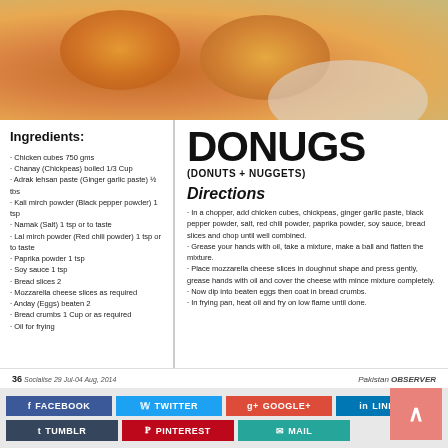[Figure (photo): Close-up photo of golden fried donuts/nuggets (donugs) on a plate]
Ingredients:
· Chicken cubes 750 gms
· Chanay (Chickpeas) boiled 1/3 Cup
· Adrak Lehsan paste (Ginger garlic paste) ½ tbs
· Kali mirch powder (Black pepper powder) 1 tsp
· Namak (Salt) 1 tsp or to taste
· Lal mirch powder (Red chili powder) 1 tsp or to taste
· Paprika powder 1 tsp
· Soy sauce 1 tsp
· Bread slices 2
· Mozzarella cheese slices as required
· Anday (Eggs) beaten 2
· Bread crumbs 1 Cup or as required
· Oil for frying
DONUGS
(DONUTS + NUGGETS)
Directions
· In a chopper, add chicken cubes, chickpeas, ginger garlic paste, black pepper powder, salt, red chili powder, paprika powder, soy sauce, bread slices and chop until well combined.
· Grease your hands with oil, take a mixture, make a ball and flatten the mixture.
· Place mozzarella cheese slices in doughnut shape and press gently, grease hands with oil and cover the cheese with mince mixture completely.
· Now dip into beaten eggs then coat in bread crumbs.
· In frying pan, heat oil and fry on low flame until done.
36 Socialise 29 Jul-04 Aug, 2014   Pakistan OBSERVER